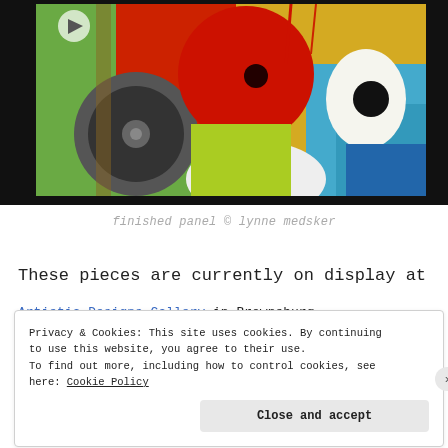[Figure (photo): Abstract colorful artwork showing circular shapes in red, black, yellow, green, blue on a textured background, displayed on a black background]
finished panel © lynne medsker
These pieces are currently on display at
Artistic Designs Gallery in Brownsburg
Privacy & Cookies: This site uses cookies. By continuing to use this website, you agree to their use.
To find out more, including how to control cookies, see here: Cookie Policy
Close and accept